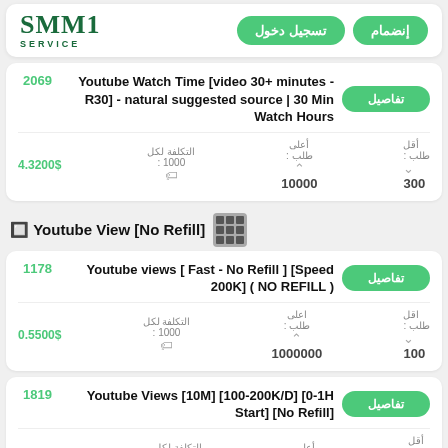SMM1 SERVICE | إنضمام | تسجيل دخول
Youtube Watch Time [video 30+ minutes - R30] - natural suggested source | 30 Min Watch Hours 2069
أقل طلب: 300 | أعلى طلب: 10000 | التكلفة لكل 1000: | 4.3200$
Youtube View [No Refill] 🔲
Youtube views [ Fast - No Refill ] [Speed  200K] ( NO REFILL ) 1178
أقل طلب: 100 | أعلى طلب: 1000000 | التكلفة لكل 1000: | 0.5500$
Youtube Views [10M] [100-200K/D] [0-1H Start] [No Refill] 1819
أقل | أعلى | التكلفة لكل | 0.6600$